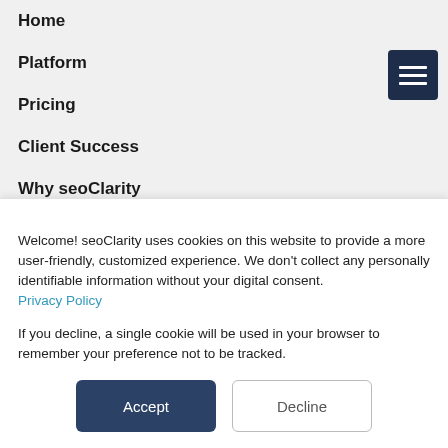Home
Platform
Pricing
Client Success
Why seoClarity
Careers
Welcome! seoClarity uses cookies on this website to provide a more user-friendly, customized experience. We don't collect any personally identifiable information without your digital consent. Privacy Policy

If you decline, a single cookie will be used in your browser to remember your preference not to be tracked.